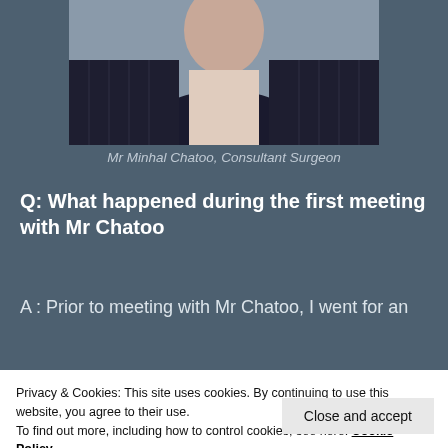[Figure (photo): Portrait photo of Mr Minhal Chatoo, Consultant Surgeon, wearing a dark pinstripe suit and light shirt, cropped at torso level]
Mr Minhal Chatoo, Consultant Surgeon
Q: What happened during the first meeting with Mr Chatoo
A : Prior to meeting with Mr Chatoo, I went for an
Privacy & Cookies: This site uses cookies. By continuing to use this website, you agree to their use.
To find out more, including how to control cookies, see here: Cookie Policy
and then outlined the course of correction that an